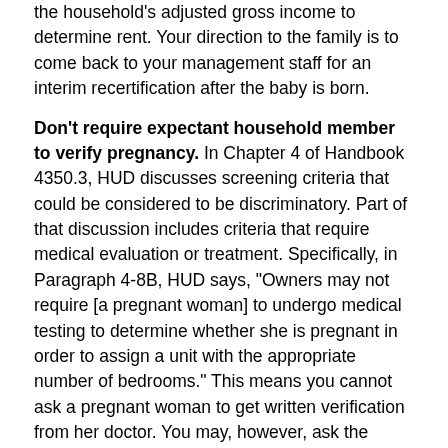the household's adjusted gross income to determine rent. Your direction to the family is to come back to your management staff for an interim recertification after the baby is born.
Don't require expectant household member to verify pregnancy. In Chapter 4 of Handbook 4350.3, HUD discusses screening criteria that could be considered to be discriminatory. Part of that discussion includes criteria that require medical evaluation or treatment. Specifically, in Paragraph 4-8B, HUD says, "Owners may not require [a pregnant woman] to undergo medical testing to determine whether she is pregnant in order to assign a unit with the appropriate number of bedrooms." This means you cannot ask a pregnant woman to get written verification from her doctor. You may, however, ask the household member herself to certify that she is pregnant.
You can use our Model Form: Ask Household Member to Certify She Is Pregnant. When you are requesting this certification, you should make it clear to the household